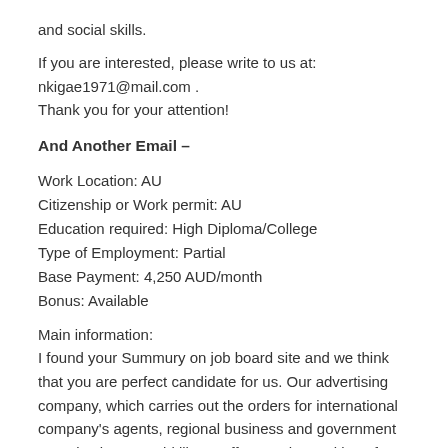and social skills.
If you are interested, please write to us at:
nkigae1971@mail.com .
Thank you for your attention!
And Another Email –
Work Location: AU
Citizenship or Work permit: AU
Education required: High Diploma/College
Type of Employment: Partial
Base Payment: 4,250 AUD/month
Bonus: Available
Main information:
I found your Summury on job board site and we think that you are perfect candidate for us. Our advertising company, which carries out the orders for international company's agents, regional business and government organisations, would like to offer you the position of Service Manager. If you are interested in cooperation with a strong leadership team, evolving our products and a group that looks more like close friends than